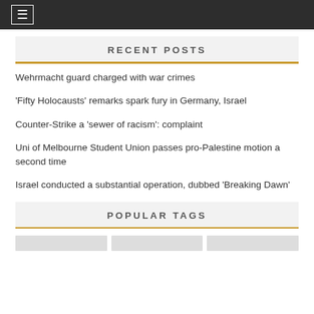☰
RECENT POSTS
Wehrmacht guard charged with war crimes
'Fifty Holocausts' remarks spark fury in Germany, Israel
Counter-Strike a 'sewer of racism': complaint
Uni of Melbourne Student Union passes pro-Palestine motion a second time
Israel conducted a substantial operation, dubbed 'Breaking Dawn'
POPULAR TAGS